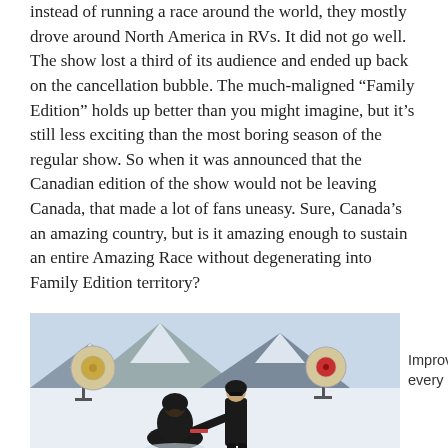instead of running a race around the world, they mostly drove around North America in RVs. It did not go well. The show lost a third of its audience and ended up back on the cancellation bubble. The much-maligned “Family Edition” holds up better than you might imagine, but it’s still less exciting than the most boring season of the regular show. So when it was announced that the Canadian edition of the show would not be leaving Canada, that made a lot of fans uneasy. Sure, Canada’s an amazing country, but is it amazing enough to sustain an entire Amazing Race without degenerating into Family Edition territory?
[Figure (photo): Two people in black winter gear on a snowy landscape. One person is crouching and handing something to another person who is sitting/kneeling on the snow. Two circular target-like structures (gonging targets on stands) are visible in the background against a snowy mountain scene.]
Improving every